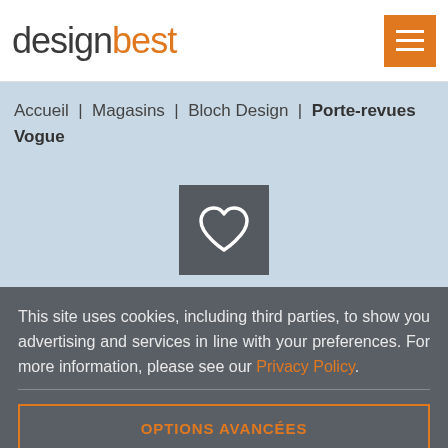designbest
Accueil | Magasins | Bloch Design | Porte-revues Vogue
[Figure (illustration): Dark gray square box containing a white heart outline icon]
This site uses cookies, including third parties, to show you advertising and services in line with your preferences. For more information, please see our Privacy Policy.
OPTIONS AVANCÉES
TOUT ACCEPTER